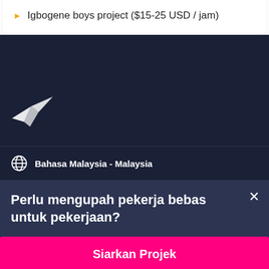Igbogene boys project ($15-25 USD / jam)
[Figure (logo): Freelancer.com bird/paper-plane logo in white on dark navy background]
Bahasa Malaysia - Malaysia
Perlu mengupah pekerja bebas untuk pekerjaan?
Siarkan Projek